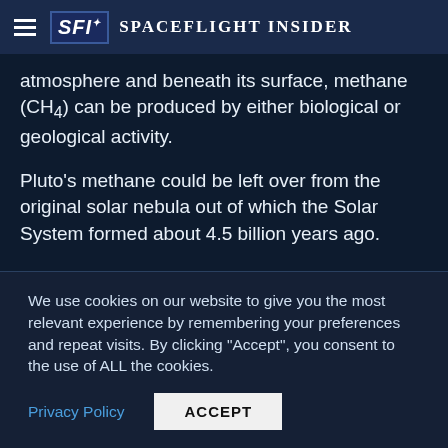Spaceflight Insider
atmosphere and beneath its surface, methane (CH4) can be produced by either biological or geological activity.
Pluto’s methane could be left over from the original solar nebula out of which the Solar System formed about 4.5 billion years ago.
The detection of methane on Pluto’s surface was originally made by a team of ground-based astronomers led by New Horizons team member Dale
We use cookies on our website to give you the most relevant experience by remembering your preferences and repeat visits. By clicking “Accept”, you consent to the use of ALL the cookies.
Privacy Policy | ACCEPT